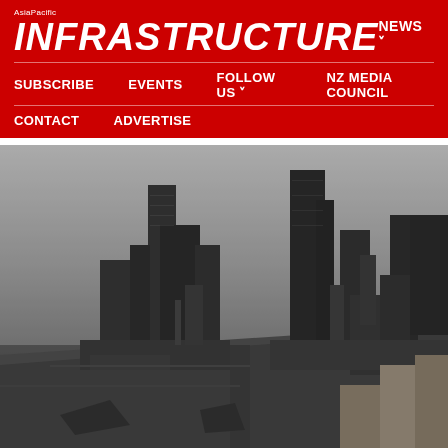AsiaPacific INFRASTRUCTURE
NEWS | MAGAZINE
SUBSCRIBE | EVENTS | FOLLOW US | NZ MEDIA COUNCIL
CONTACT | ADVERTISE
[Figure (illustration): 3D rendered architectural model of a city skyline with tall dark buildings and urban structures against a grey sky, viewed from an elevated perspective.]